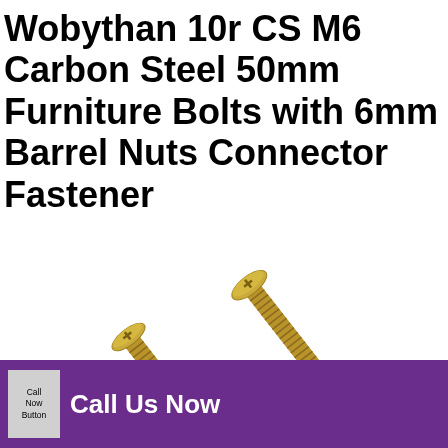Wobythan 10r CS M6 Carbon Steel 50mm Furniture Bolts with 6mm Barrel Nuts Connector Fastener
[Figure (photo): Two gold/yellow zinc-plated M6 carbon steel furniture bolts with round heads and Phillips cross-slot drive, showing threaded shafts. One bolt is shown with a barrel nut connector attached.]
Call Now Button  Call Us Now